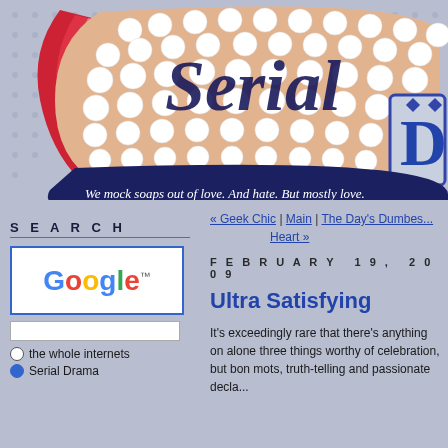[Figure (illustration): Serial Drama website header banner with decorative art nouveau style logo showing 'Serial D' text, surrounded by large white polka dots on a red/pink/beige banner shape, with tagline 'We mock soaps out of love. And hate. But mostly love.' Background is light blue-grey dotted pattern.]
SEARCH
[Figure (logo): Google logo in multicolor (blue, red, yellow, green) with trademark symbol]
the whole internets
Serial Drama
« Geek Chic | Main | The Day's Dumbest Heart »
FEBRUARY 19, 2009
Ultra Satisfying
It's exceedingly rare that there's anything on alone three things worthy of celebration, but bon mots, truth-telling and passionate decla